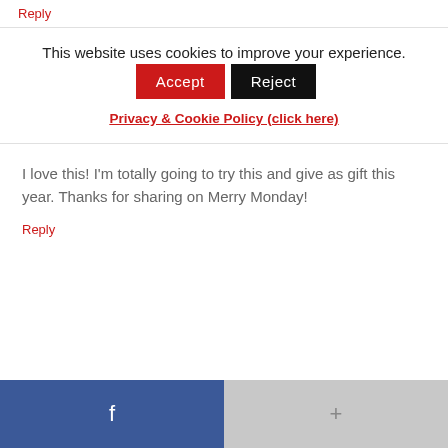Reply
This website uses cookies to improve your experience.
Accept
Reject
Privacy & Cookie Policy (click here)
I love this! I'm totally going to try this and give as gift this year. Thanks for sharing on Merry Monday!
Reply